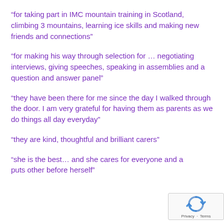“for taking part in IMC mountain training in Scotland, climbing 3 mountains, learning ice skills and making new friends and connections”
“for making his way through selection for … negotiating interviews, giving speeches, speaking in assemblies and a question and answer panel”
“they have been there for me since the day I walked through the door. I am very grateful for having them as parents as we do things all day everyday”
“they are kind, thoughtful and brilliant carers”
“she is the best… and she cares for everyone and always puts other before herself”
[Figure (other): reCAPTCHA widget with blue recycling arrows icon and Privacy/Terms text]